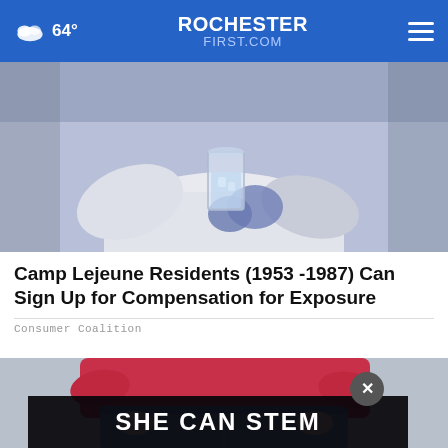64° ROCHESTERFIRST.COM
[Figure (photo): Person in white lab coat holding a glass of water with blue-gloved hands, blurred background]
Camp Lejeune Residents (1953 -1987) Can Sign Up for Compensation for Exposure
Consumer Coalition
[Figure (photo): Person wearing red top and jeans, cropped torso view, with SHE CAN STEM advertisement banner overlay and close (X) button]